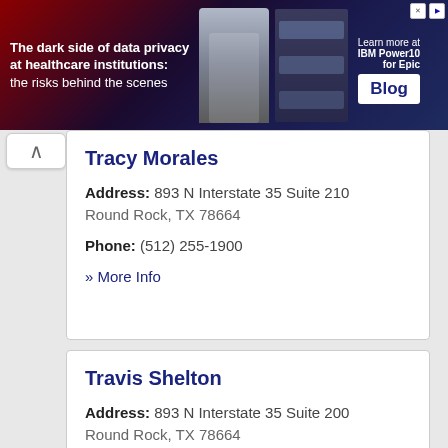[Figure (infographic): Advertisement banner: 'The dark side of data privacy at healthcare institutions: the risks behind the scenes' with a person holding a laptop, server images, and 'Learn more at IBM Power10 for Epic Blog' button]
Tracy Morales
Address: 893 N Interstate 35 Suite 210
Round Rock, TX 78664
Phone: (512) 255-1900
» More Info
Travis Shelton
Address: 893 N Interstate 35 Suite 200
Round Rock, TX 78664
Phone: (512) 310-9374
» More Info